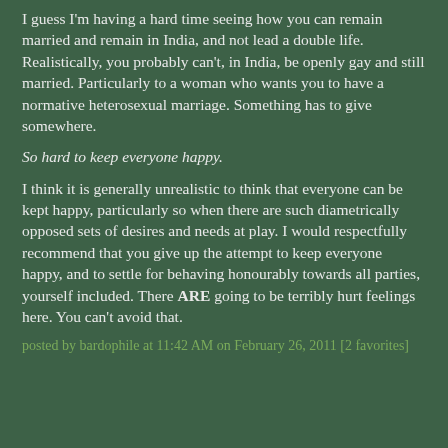I guess I'm having a hard time seeing how you can remain married and remain in India, and not lead a double life. Realistically, you probably can't, in India, be openly gay and still married. Particularly to a woman who wants you to have a normative heterosexual marriage. Something has to give somewhere.
So hard to keep everyone happy.
I think it is generally unrealistic to think that everyone can be kept happy, particularly so when there are such diametrically opposed sets of desires and needs at play. I would respectfully recommend that you give up the attempt to keep everyone happy, and to settle for behaving honourably towards all parties, yourself included. There ARE going to be terribly hurt feelings here. You can't avoid that.
posted by bardophile at 11:42 AM on February 26, 2011 [2 favorites]